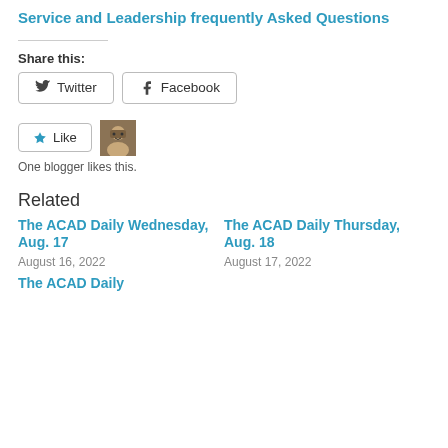Service and Leadership frequently Asked Questions
Share this:
Twitter   Facebook
Like  One blogger likes this.
Related
The ACAD Daily Wednesday, Aug. 17
August 16, 2022
The ACAD Daily Thursday, Aug. 18
August 17, 2022
The ACAD Daily